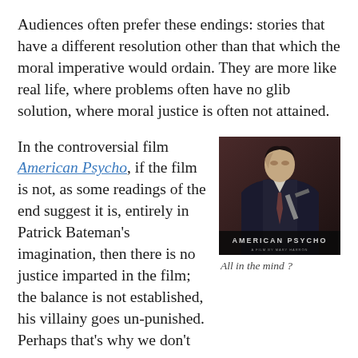Audiences often prefer these endings: stories that have a different resolution other than that which the moral imperative would ordain. They are more like real life, where problems often have no glib solution, where moral justice is often not attained.
In the controversial film American Psycho, if the film is not, as some readings of the end suggest it is, entirely in Patrick Bateman's imagination, then there is no justice imparted in the film; the balance is not established, his villainy goes un-punished. Perhaps that's why we don't
[Figure (photo): Movie poster for American Psycho showing a man in a suit with the text AMERICAN PSYCHO at the bottom]
All in the mind ?